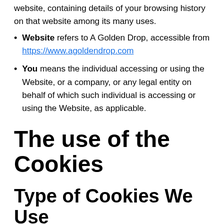website, containing details of your browsing history on that website among its many uses.
Website refers to A Golden Drop, accessible from https://www.agoldendrop.com
You means the individual accessing or using the Website, or a company, or any legal entity on behalf of which such individual is accessing or using the Website, as applicable.
The use of the Cookies
Type of Cookies We Use